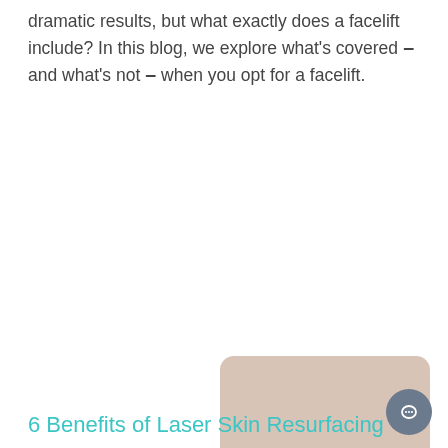dramatic results, but what exactly does a facelift include? In this blog, we explore what's covered – and what's not – when you opt for a facelift.
[Figure (photo): Photo of a woman's face (Asian woman, showing forehead and eyes prominently) with a chat popup overlay showing 'Have a question? Message us here!' and an X close button. A circular chat icon button in dark grey is visible at bottom right.]
6 Benefits of Laser Skin Resurfacing